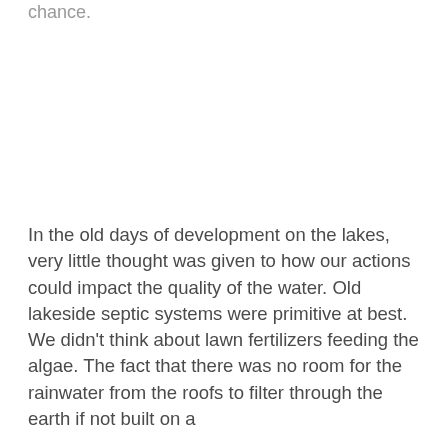chance.
In the old days of development on the lakes, very little thought was given to how our actions could impact the quality of the water. Old lakeside septic systems were primitive at best. We didn't think about lawn fertilizers feeding the algae. The fact that there was no room for the rainwater from the roofs to filter through the earth if not built on a...